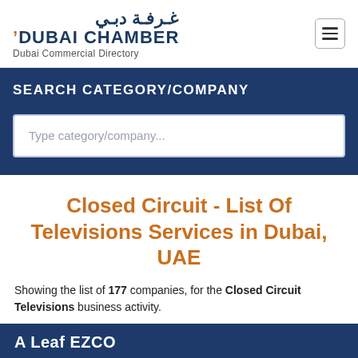[Figure (logo): Dubai Chamber logo with Arabic text above and 'DUBAI CHAMBER / Dubai Commercial Directory' below]
SEARCH CATEGORY/COMPANY
Type category/company...
Closed Circuit - List Of Televisions Services in Dubai, UAE
Showing the list of 177 companies, for the Closed Circuit Televisions business activity.
A Leaf EZCO